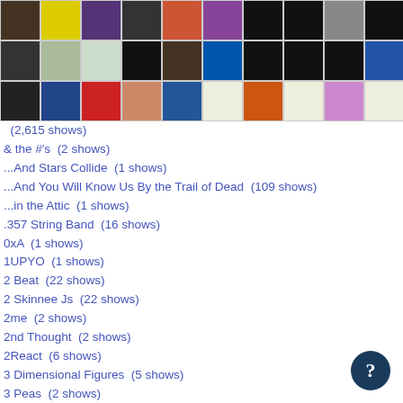[Figure (illustration): Grid of music artist/band album artwork thumbnails arranged in 3 rows of 10 images each]
(2,615 shows)
& the #'s  (2 shows)
...And Stars Collide  (1 shows)
...And You Will Know Us By the Trail of Dead  (109 shows)
...in the Attic  (1 shows)
.357 String Band  (16 shows)
0xA  (1 shows)
1UPYO  (1 shows)
2 Beat  (22 shows)
2 Skinnee Js  (22 shows)
2me  (2 shows)
2nd Thought  (2 shows)
2React  (6 shows)
3 Dimensional Figures  (5 shows)
3 Peas  (2 shows)
3 Simple Words  (1 shows)
3-Way Street  (45 shows)